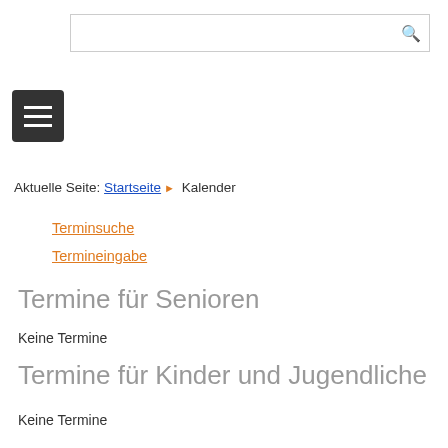[Figure (screenshot): Search bar with magnifying glass icon]
[Figure (screenshot): Hamburger menu button (three horizontal lines on dark background)]
Aktuelle Seite: Startseite ▶ Kalender
Terminsuche
Termineingabe
Termine für Senioren
Keine Termine
Termine für Kinder und Jugendliche
Keine Termine